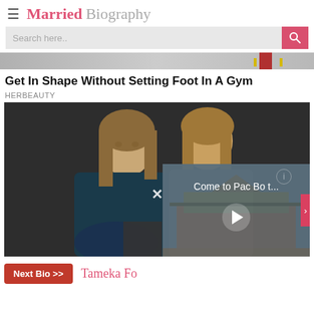≡ Married Biography
Search here..
[Figure (photo): Partial banner image with dark background and colored decorative elements]
Get In Shape Without Setting Foot In A Gym
HERBEAUTY
[Figure (photo): Two young women posing together against a dark background, with a video overlay showing 'Come to Pac Bo t...' and a play button]
Next Bio >>  Tameka Fo